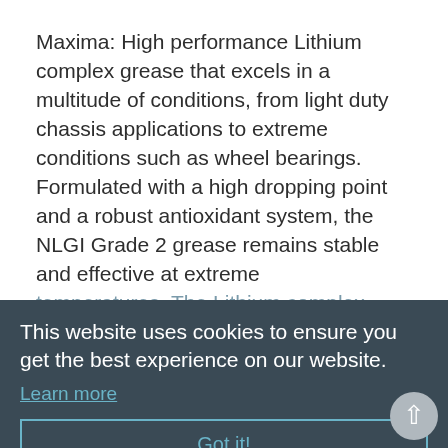Maxima: High performance Lithium complex grease that excels in a multitude of conditions, from light duty chassis applications to extreme conditions such as wheel bearings. Formulated with a high dropping point and a robust antioxidant system, the NLGI Grade 2 grease remains stable and effective at extreme temperatures. The Lithium complex combined with an advanced additive package to ensure excellent protection against wear, water washout, corrosion and oxidation. FEATURESSuperior protection across a wide range of temperatures and applicationsResistance
This website uses cookies to ensure you get the best experience on our website. Learn more
Got it!